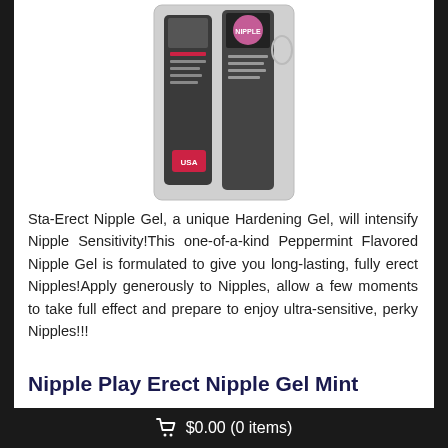[Figure (photo): Product photo of Sta-Erect Nipple Gel packaging — two dark-colored cylindrical containers in clear plastic clamshell packaging, with a pink circular logo visible.]
Sta-Erect Nipple Gel, a unique Hardening Gel, will intensify Nipple Sensitivity!This one-of-a-kind Peppermint Flavored Nipple Gel is formulated to give you long-lasting, fully erect Nipples!Apply generously to Nipples, allow a few moments to take full effect and prepare to enjoy ultra-sensitive, perky Nipples!!!
Nipple Play Erect Nipple Gel Mint
$11.23  $7.49
In Stock
[Figure (other): Five empty star rating icons (no stars filled)]
Quantity:  < 1 >
🛒 $0.00 (0 items)